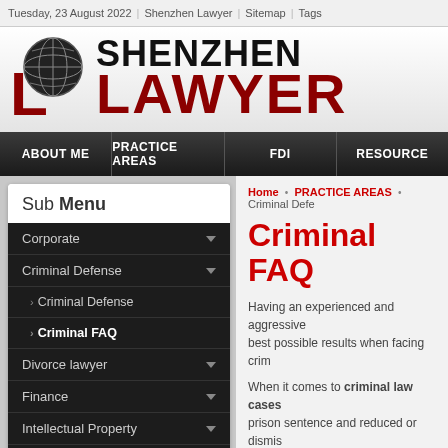Tuesday, 23 August 2022 | Shenzhen Lawyer | Sitemap | Tags
[Figure (logo): Shenzhen Lawyer logo with globe icon, large L mark in dark red, SHENZHEN in black bold, LAWYER in dark red bold]
ABOUT ME | PRACTICE AREAS | FDI | RESOURCE
Sub Menu
Corporate
Criminal Defense
> Criminal Defense
> Criminal FAQ
Divorce lawyer
Finance
Intellectual Property
International Trade
Litigation & Arbitration
Home • PRACTICE AREAS • Criminal Defe
Criminal FAQ
Having an experienced and aggressive best possible results when facing crim
When it comes to criminal law cases prison sentence and reduced or dismis the accused and our criminal defense good criminal defense attorney can ma are protected throughout the legal pro competent, experienced and effective